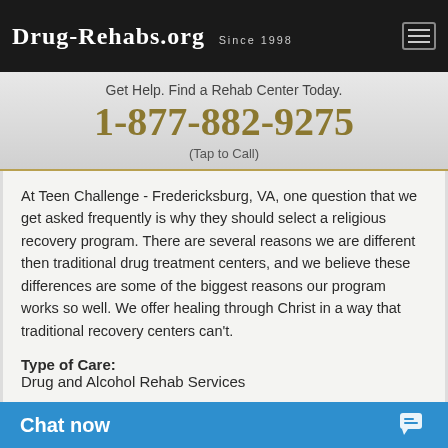Drug-Rehabs.org Since 1998
Get Help. Find a Rehab Center Today.
1-877-882-9275
(Tap to Call)
At Teen Challenge - Fredericksburg, VA, one question that we get asked frequently is why they should select a religious recovery program. There are several reasons we are different then traditional drug treatment centers, and we believe these differences are some of the biggest reasons our program works so well. We offer healing through Christ in a way that traditional recovery centers can't.
Type of Care:
Drug and Alcohol Rehab Services
Treatment Approac...
Chat now